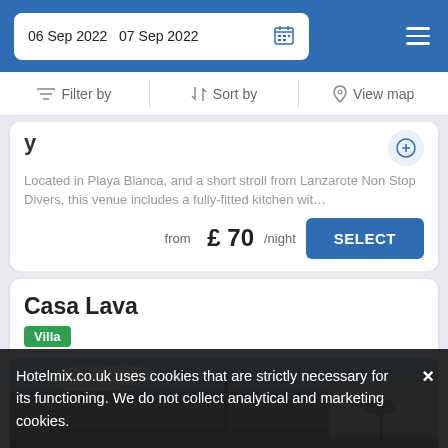06 Sep 2022  07 Sep 2022
Filter by  Sort by  View map
Located in Playa Blanca, and a short stroll from Lanzarote Non Stop Divers, this venue includes a fully-fitted kitchen wit…
from £ 70/night  SELECT
Casa Lava
Villa
[Figure (photo): Exterior photo of Casa Lava villa showing modern structure with horizontal slats under blue sky]
Hotelmix.co.uk uses cookies that are strictly necessary for its functioning. We do not collect analytical and marketing cookies.